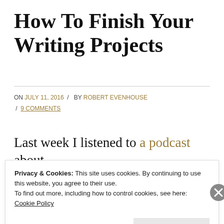How To Finish Your Writing Projects
ON JULY 11, 2016  /  BY ROBERT EVENHOUSE  /  9 COMMENTS
Last week I listened to a podcast about
Privacy & Cookies: This site uses cookies. By continuing to use this website, you agree to their use.
To find out more, including how to control cookies, see here:
Cookie Policy
Close and accept